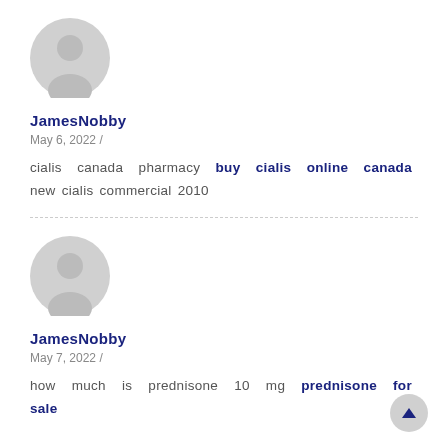[Figure (illustration): Gray circular user avatar icon with silhouette of person]
JamesNobby
May 6, 2022 /
cialis canada pharmacy buy cialis online canada new cialis commercial 2010
[Figure (illustration): Gray circular user avatar icon with silhouette of person]
JamesNobby
May 7, 2022 /
how much is prednisone 10 mg prednisone for sale